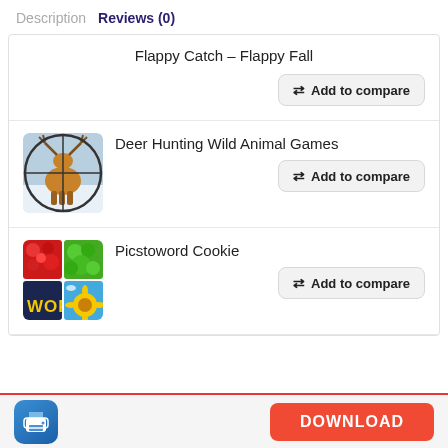Description  Reviews (0)
Flappy Catch – Flappy Fall
Add to compare
[Figure (illustration): Deer hunting game app icon — deer in crosshair sights on snowy background]
Deer Hunting Wild Animal Games
Add to compare
[Figure (illustration): Picstoword Cookie app icon — colorful grid with 'WORD' text, flowers, sunflower, sky]
Picstoword Cookie
Add to compare
DOWNLOAD